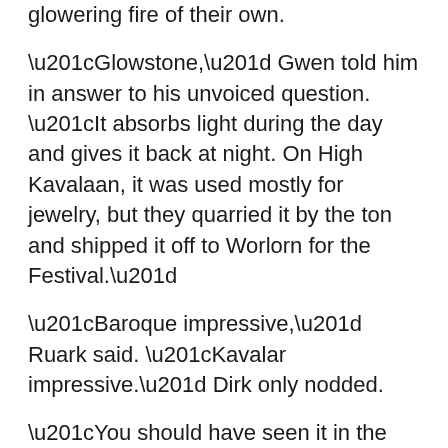and streets of Larteyn blazed with a dull glowering fire of their own.
“Glowstone,” Gwen told him in answer to his unvoiced question. “It absorbs light during the day and gives it back at night. On High Kavalaan, it was used mostly for jewelry, but they quarried it by the ton and shipped it off to Worlorn for the Festival.”
“Baroque impressive,” Ruark said. “Kavalar impressive.” Dirk only nodded.
“You should have seen it in the old days,” Gwen said. “Larteyn drank from the seven suns by day and lit the range by night. Like a dagger of fire. The stones are fading now—the Wheel grows more distant every hour. In another decade the city will go dark as a burnt-out ember.”